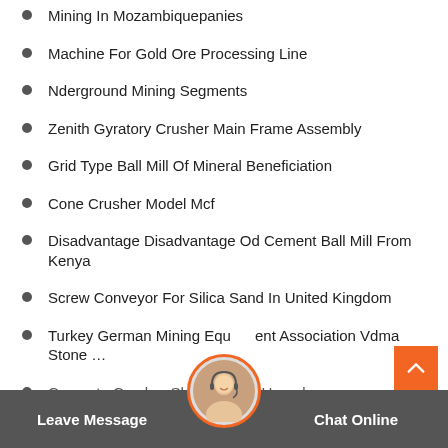Mining In Mozambiquepanies
Machine For Gold Ore Processing Line
Nderground Mining Segments
Zenith Gyratory Crusher Main Frame Assembly
Grid Type Ball Mill Of Mineral Beneficiation
Cone Crusher Model Mcf
Disadvantage Disadvantage Od Cement Ball Mill From Kenya
Screw Conveyor For Silica Sand In United Kingdom
Turkey German Mining Equipment Association Vdma Stone …
Concrete Crusher Skidsteers In Uganda